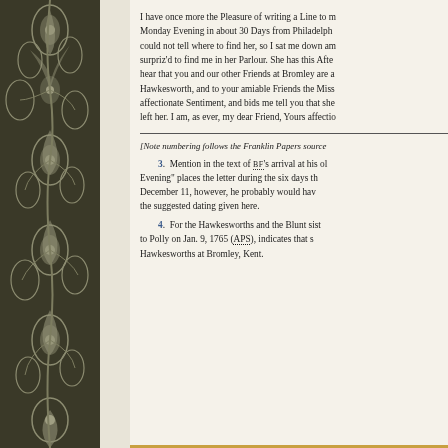I have once more the Pleasure of writing a Line to m... Monday Evening in about 30 Days from Philadelph... could not tell where to find her, so I sat me down am... surpriz'd to find me in her Parlour. She has this Afte... hear that you and our other Friends at Bromley are a... Hawkesworth, and to your amiable Friends the Miss... affectionate Sentiment, and bids me tell you that she... left her. I am, as ever, my dear Friend, Yours affectio...
[Note numbering follows the Franklin Papers source...
3. Mention in the text of BF's arrival at his ol... Evening" places the letter during the six days th... December 11, however, he probably would hav... the suggested dating given here.
4. For the Hawkesworths and the Blunt sist... to Polly on Jan. 9, 1765 (APS), indicates that s... Hawkesworths at Bromley, Kent.